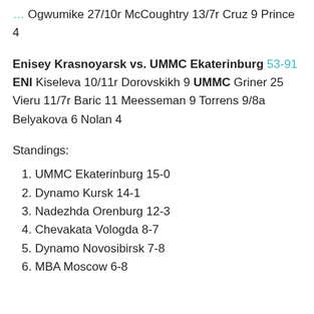Ogwumike 27/10r McCoughtry 13/7r Cruz 9 Prince 4
Enisey Krasnoyarsk vs. UMMC Ekaterinburg 53-91 ENI Kiseleva 10/11r Dorovskikh 9 UMMC Griner 25 Vieru 11/7r Baric 11 Meesseman 9 Torrens 9/8a Belyakova 6 Nolan 4
Standings:
UMMC Ekaterinburg 15-0
Dynamo Kursk 14-1
Nadezhda Orenburg 12-3
Chevakata Vologda 8-7
Dynamo Novosibirsk 7-8
MBA Moscow 6-8